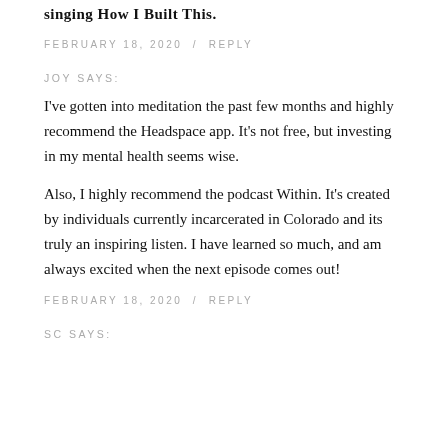singing How I Built This.
FEBRUARY 18, 2020 / REPLY
JOY SAYS:
I've gotten into meditation the past few months and highly recommend the Headspace app. It's not free, but investing in my mental health seems wise.
Also, I highly recommend the podcast Within. It's created by individuals currently incarcerated in Colorado and its truly an inspiring listen. I have learned so much, and am always excited when the next episode comes out!
FEBRUARY 18, 2020 / REPLY
SC SAYS: